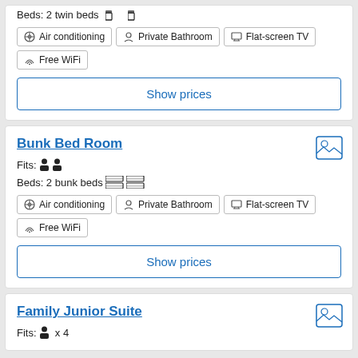Beds: 2 twin beds
Air conditioning
Private Bathroom
Flat-screen TV
Free WiFi
Show prices
Bunk Bed Room
Fits: 2 persons
Beds: 2 bunk beds
Air conditioning
Private Bathroom
Flat-screen TV
Free WiFi
Show prices
Family Junior Suite
Fits: x 4